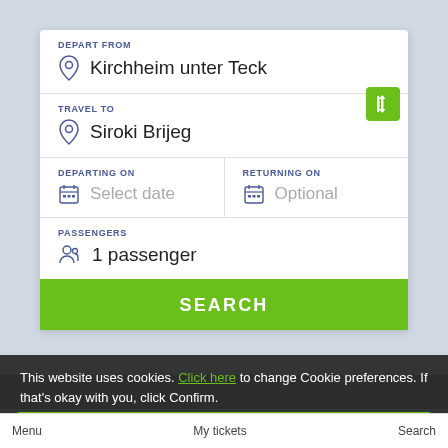DEPART FROM
Kirchheim unter Teck
TRAVEL TO
Siroki Brijeg
DEPARTING ON
Select date
RETURNING ON
Optional
PASSENGERS
1 passenger
SEARCH
This website uses cookies. Click here to change Cookie preferences. If that's okay with you, click Confirm.
Confirm
Menu
My tickets
Search